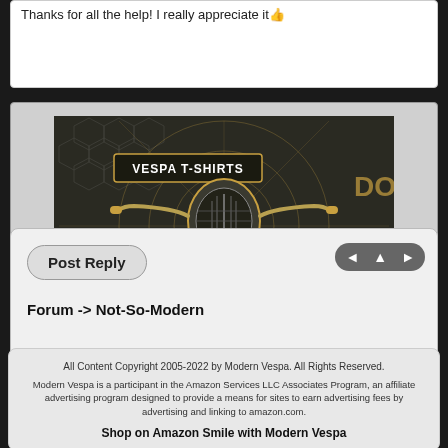Thanks for all the help! I really appreciate it👍
[Figure (illustration): Vespa T-Shirts advertisement banner from doublegood.co.uk showing a stylized Vespa scooter front view with gold decorative elements on dark background]
Post Reply
Forum -> Not-So-Modern
All Content Copyright 2005-2022 by Modern Vespa. All Rights Reserved.
Modern Vespa is a participant in the Amazon Services LLC Associates Program, an affiliate advertising program designed to provide a means for sites to earn advertising fees by advertising and linking to amazon.com.
Shop on Amazon Smile with Modern Vespa